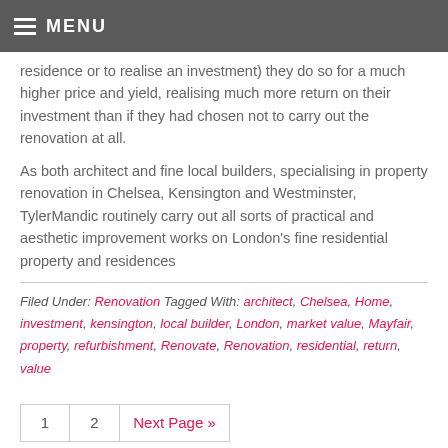MENU
residence or to realise an investment) they do so for a much higher price and yield, realising much more return on their investment than if they had chosen not to carry out the renovation at all.
As both architect and fine local builders, specialising in property renovation in Chelsea, Kensington and Westminster, TylerMandic routinely carry out all sorts of practical and aesthetic improvement works on London's fine residential property and residences
Filed Under: Renovation Tagged With: architect, Chelsea, Home, investment, kensington, local builder, London, market value, Mayfair, property, refurbishment, Renovate, Renovation, residential, return, value
1  2  Next Page »